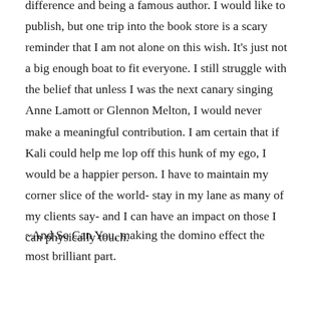difference and being a famous author. I would like to publish, but one trip into the book store is a scary reminder that I am not alone on this wish. It's just not a big enough boat to fit everyone. I still struggle with the belief that unless I was the next canary singing Anne Lamott or Glennon Melton, I would never make a meaningful contribution. I am certain that if Kali could help me lop off this hunk of my ego, I would be a happier person. I have to maintain my corner slice of the world- stay in my lane as many of my clients say- and I can have an impact on those I can physically touch.
~And So Can You, making the domino effect the most brilliant part.